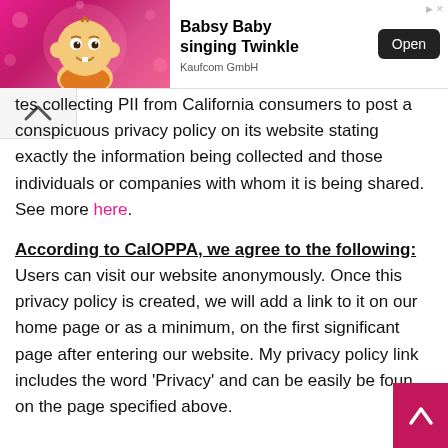[Figure (screenshot): Advertisement banner for 'Babsy Baby singing Twinkle' app by Kaufcom GmbH with an Open button]
tes collecting PII from California consumers to post a conspicuous privacy policy on its website stating exactly the information being collected and those individuals or companies with whom it is being shared. See more here.
According to CalOPPA, we agree to the following: Users can visit our website anonymously. Once this privacy policy is created, we will add a link to it on our home page or as a minimum, on the first significant page after entering our website. My privacy policy link includes the word ‘Privacy’ and can be easily be found on the page specified above.